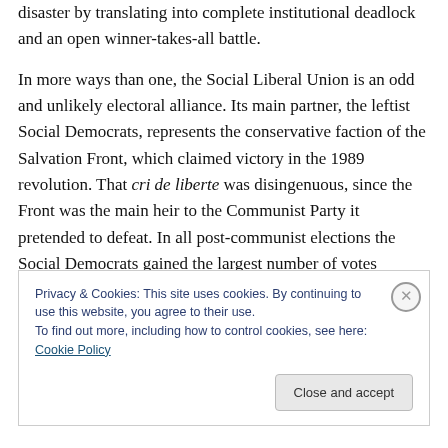disaster by translating into complete institutional deadlock and an open winner-takes-all battle.
In more ways than one, the Social Liberal Union is an odd and unlikely electoral alliance. Its main partner, the leftist Social Democrats, represents the conservative faction of the Salvation Front, which claimed victory in the 1989 revolution. That cri de liberte was disingenuous, since the Front was the main heir to the Communist Party it pretended to defeat. In all post-communist elections the Social Democrats gained the largest number of votes
Privacy & Cookies: This site uses cookies. By continuing to use this website, you agree to their use.
To find out more, including how to control cookies, see here: Cookie Policy